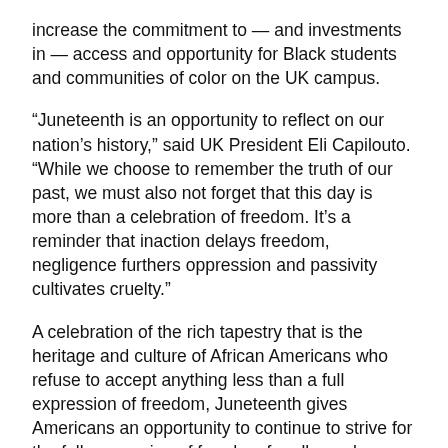increase the commitment to — and investments in — access and opportunity for Black students and communities of color on the UK campus.
“Juneteenth is an opportunity to reflect on our nation’s history,” said UK President Eli Capilouto. “While we choose to remember the truth of our past, we must also not forget that this day is more than a celebration of freedom. It’s a reminder that inaction delays freedom, negligence furthers oppression and passivity cultivates cruelty.”
A celebration of the rich tapestry that is the heritage and culture of African Americans who refuse to accept anything less than a full expression of freedom, Juneteenth gives Americans an opportunity to continue to strive for the full expression of freedom for all people.
On this episode of “Behind the Blue,” Anastasia